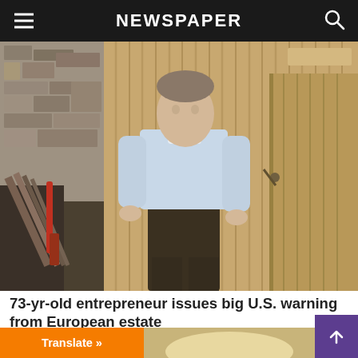NEWSPAPER
[Figure (photo): A man in a light blue shirt and dark trousers standing outdoors near a wooden barn or shed, with stacked lumber and construction materials visible in the background.]
73-yr-old entrepreneur issues big U.S. warning from European estate
Investing Outlook